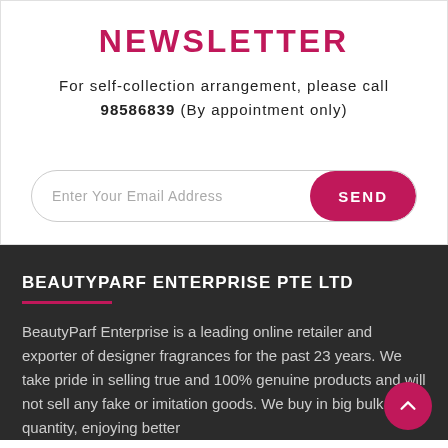NEWSLETTER
For self-collection arrangement, please call 98586839 (By appointment only)
Enter Your Email Address
BEAUTYPARF ENTERPRISE PTE LTD
BeautyParf Enterprise is a leading online retailer and exporter of designer fragrances for the past 23 years. We take pride in selling true and 100% genuine products and will not sell any fake or imitation goods. We buy in big bulk quantity, enjoying better